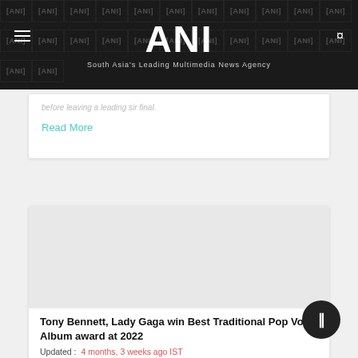ANI - South Asia's Leading Multimedia News Agency
before leaving a leading sir final.
Read More
[Figure (photo): Blank image placeholder for article]
Tony Bennett, Lady Gaga win Best Traditional Pop Vocal Album award at 2022
Updated :  4 months, 3 weeks ago IST
Las Vegas (Nevada) [US], April 4 (ANI): American singer Tony